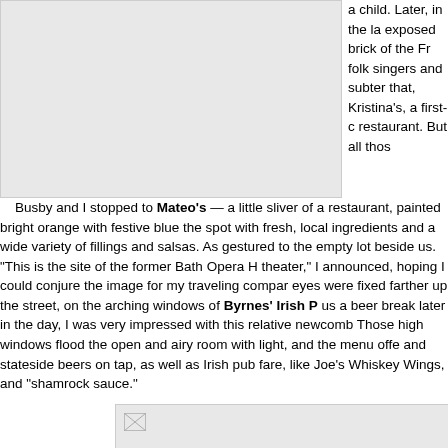[Figure (photo): Top image placeholder (broken/missing image), light gray box]
a child. Later, in the la exposed brick of the Fr folk singers and subter that, Kristina's, a first-c restaurant. But all thos
Busby and I stopped to Mateo's — a little sliver of a restaurant, painted bright orange with festive blue the spot with fresh, local ingredients and a wide variety of fillings and salsas. As gestured to the empty lot beside us. "This is the site of the former Bath Opera H theater," I announced, hoping I could conjure the image for my traveling compar eyes were fixed farther up the street, on the arching windows of Byrnes' Irish P us a beer break later in the day, I was very impressed with this relative newcomb Those high windows flood the open and airy room with light, and the menu offe and stateside beers on tap, as well as Irish pub fare, like Joe's Whiskey Wings, and "shamrock sauce."
[Figure (photo): Bottom image placeholder (broken/missing image), light gray box]